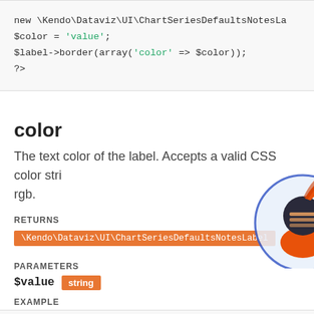[Figure (screenshot): PHP code block showing: <?php $label = new \Kendo\Dataviz\UI\ChartSeriesDefaultsNotesLabel(); $color = 'value'; $label->border(array('color' => $color)); ?>]
color
The text color of the label. Accepts a valid CSS color string like 'red', '#ff0000' and rgb.
RETURNS
\Kendo\Dataviz\UI\ChartSeriesDefaultsNotesLabel
PARAMETERS
$value string
EXAMPLE
[Figure (screenshot): PHP code block starting with <?php $label = new \Kendo\Dataviz\UI\ChartSeriesDefaults...]